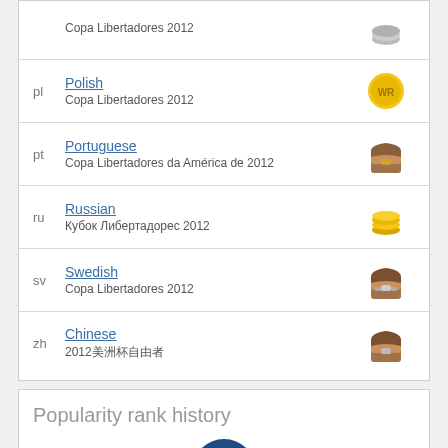pl Polish — Copa Libertadores 2012
pt Portuguese — Copa Libertadores da América de 2012
ru Russian — Кубок Либертадорес 2012
sv Swedish — Copa Libertadores 2012
zh Chinese — 2012美洲杯自由者
Popularity rank history
Spanish:    Global: